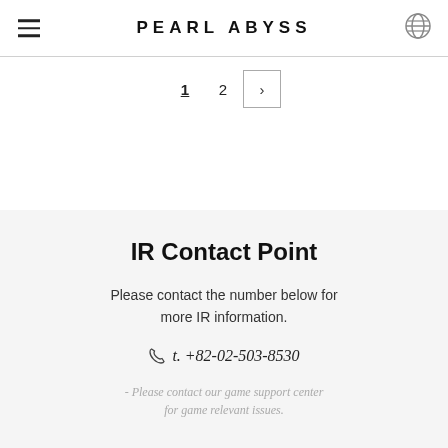PEARL ABYSS
1  2  >
IR Contact Point
Please contact the number below for more IR information.
t. +82-02-503-8530
- Please contact our game support center for game relevant issues.